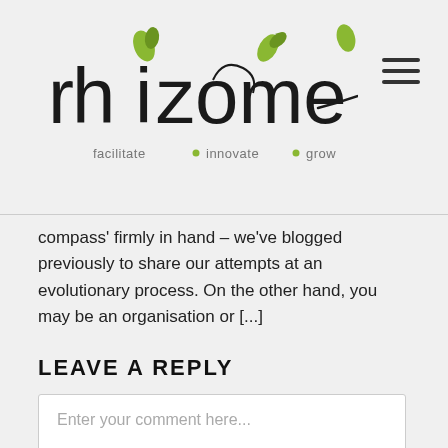[Figure (logo): Rhizome logo with stylized text and leaf imagery, tagline: facilitate • innovate • grow]
compass' firmly in hand – we've blogged previously to share our attempts at an evolutionary process. On the other hand, you may be an organisation or [...]
LEAVE A REPLY
Enter your comment here...